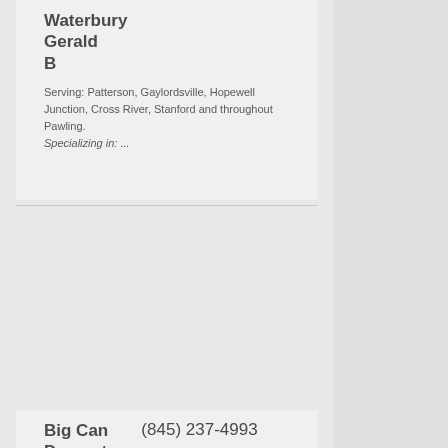Waterbury Gerald B
Serving: Patterson, Gaylordsville, Hopewell Junction, Cross River, Stanford and throughout Pawling.
Specializing in: ...
Big Can Dumpster Rental Carmel (845) 237-4993
Serving: Poughkeepsie, Nelsonville, West Point, Yorktown Heights and throughout Pawling.
Specializing in: ...